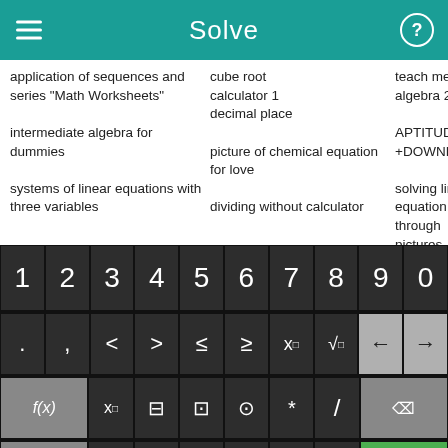Solve
application of sequences and series "Math Worksheets"
intermediate algebra for dummies
systems of linear equations with three variables
cube root
calculator 1
decimal place

picture of chemical equation for love

dividing without calculator
teach me algebra 2

APTITUDE +DOWNLOAD

solving linear equation through pictures
[Figure (screenshot): On-screen math keyboard with number row 1-9,0; symbol row with ., , < > ≤ ≥ x□ √□ and arrow keys; function row with f(x), x□, fraction, absolute value, parentheses, *, / and backspace; bottom row with abc, undo, x, y, =, +, - and green Solve! button]